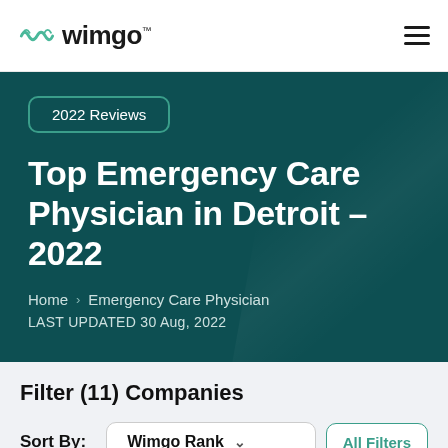wimgo™
Top Emergency Care Physician in Detroit – 2022
2022 Reviews
Home > Emergency Care Physician
LAST UPDATED 30 Aug, 2022
Filter (11) Companies
Sort By: Wimgo Rank
All Filters